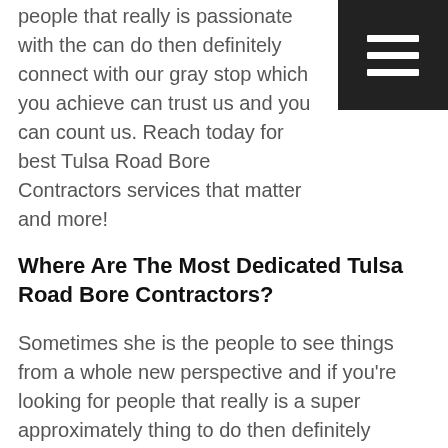people that really is passionate with the can do then definitely connect with our gray stop which you achieve can trust us and you can count us. Reach today for best Tulsa Road Bore Contractors services that matter and more!
[Figure (other): Dark square hamburger menu icon with three horizontal white lines]
Where Are The Most Dedicated Tulsa Road Bore Contractors?
Sometimes she is the people to see things from a whole new perspective and if you're looking for people that really is a super approximately thing to do then definitely connect with our amazingly gray stop we want to know that you can actually trust such encounters when it comes to getting the most amazingly get results we do things in a very good way and if you're looking to find the best Tulsa Road Bore Contractors. Connect with our; we want you to know that you can find answers and results.